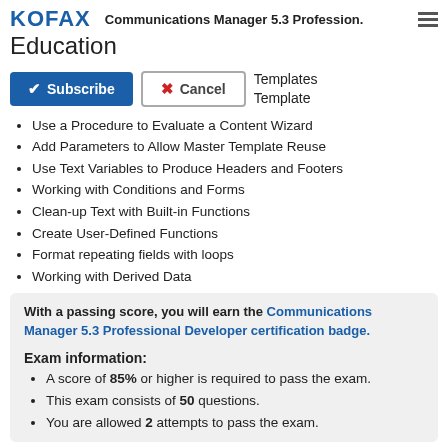KOFAX  Communications Manager 5.3 Profession.
Education
Subscribe  Cancel  Templates Template
Use a Procedure to Evaluate a Content Wizard
Add Parameters to Allow Master Template Reuse
Use Text Variables to Produce Headers and Footers
Working with Conditions and Forms
Clean-up Text with Built-in Functions
Create User-Defined Functions
Format repeating fields with loops
Working with Derived Data
With a passing score, you will earn the Communications Manager 5.3 Professional Developer certification badge.
Exam information:
A score of 85% or higher is required to pass the exam.
This exam consists of 50 questions.
You are allowed 2 attempts to pass the exam.